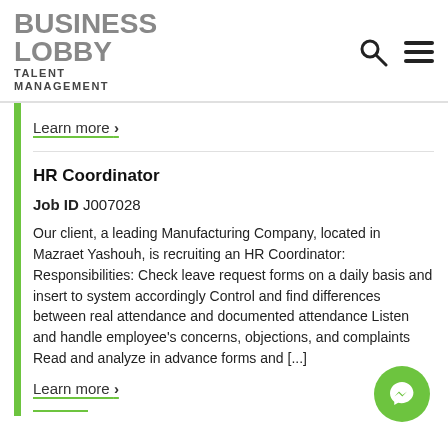BUSINESS LOBBY TALENT MANAGEMENT
Learn more >
HR Coordinator
Job ID J007028
Our client, a leading Manufacturing Company, located in Mazraet Yashouh, is recruiting an HR Coordinator: Responsibilities: Check leave request forms on a daily basis and insert to system accordingly Control and find differences between real attendance and documented attendance Listen and handle employee's concerns, objections, and complaints Read and analyze in advance forms and [...]
Learn more >